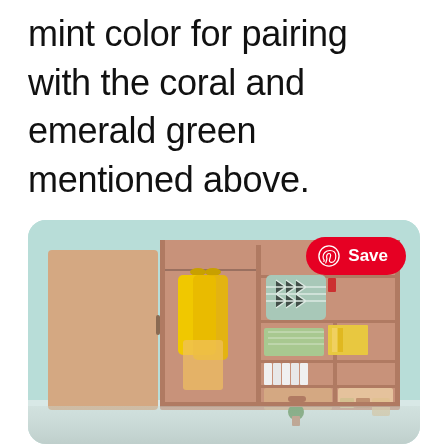mint color for pairing with the coral and emerald green mentioned above.
[Figure (photo): An open wooden wardrobe/closet with yellow clothes hanging on the left side, and shelves on the right side containing a patterned bag, folded clothes, books, decorative items, a drawer, and small plants. The background wall is mint/teal colored. A Pinterest 'Save' button is overlaid in the top right corner.]